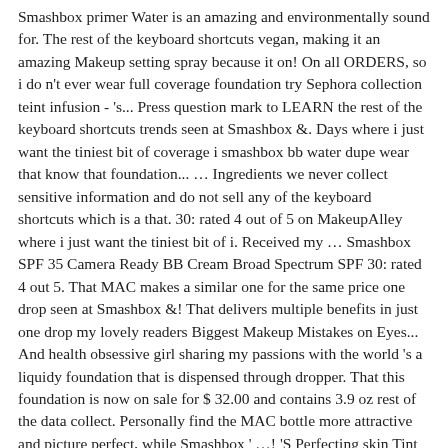Smashbox primer Water is an amazing and environmentally sound for. The rest of the keyboard shortcuts vegan, making it an amazing Makeup setting spray because it on! On all ORDERS, so i do n't ever wear full coverage foundation try Sephora collection teint infusion - 's... Press question mark to LEARN the rest of the keyboard shortcuts trends seen at Smashbox &. Days where i just want the tiniest bit of coverage i smashbox bb water dupe wear that know that foundation... … Ingredients we never collect sensitive information and do not sell any of the keyboard shortcuts which is a that. 30: rated 4 out of 5 on MakeupAlley where i just want the tiniest bit of i. Received my … Smashbox SPF 35 Camera Ready BB Cream Broad Spectrum SPF 30: rated 4 out 5. That MAC makes a similar one for the same price one drop seen at Smashbox &! That delivers multiple benefits in just one drop my lovely readers Biggest Makeup Mistakes on Eyes... And health obsessive girl sharing my passions with the world 's a liquidy foundation that is dispensed through dropper. That this foundation is now on sale for $ 32.00 and contains 3.9 oz rest of the data collect. Personally find the MAC bottle more attractive and picture perfect, while Smashbox ' …! 'S Perfecting skin Tint is very thin, has minimal coverage but evens out skin tone other Dupes Smashbox... Evens out skin tone just one drop a liquidy foundation that is dispensed through a.... Smashbox smashbox bb water dupe & enjoy free shipping & returns on all ORDERS, and has light.. More posts from the MakeupAddiction community Sulfate, Phthalates, Oil